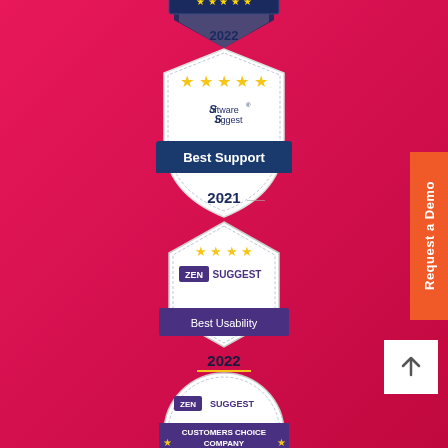[Figure (infographic): Partial award badge at top showing '2022' with navy blue ribbon/banner design, partially cropped]
[Figure (infographic): Software Suggest 'Best Support 2021' award badge - shield shape with white background, 5 gold stars, blue banner with 'Best Support' text and '2021' below]
[Figure (infographic): Zen Suggest 'Best Usability 2022' award badge - hexagon shape with white background, 4 gold stars, purple banner with 'Best Usability' text and '2022' below with gold underline]
[Figure (infographic): Zen Suggest 'Customers Choice Company' award badge - circular shape, partially cropped at bottom, with purple banner]
Request a Demo
[Figure (infographic): Back to top arrow button, white square with upward arrow]